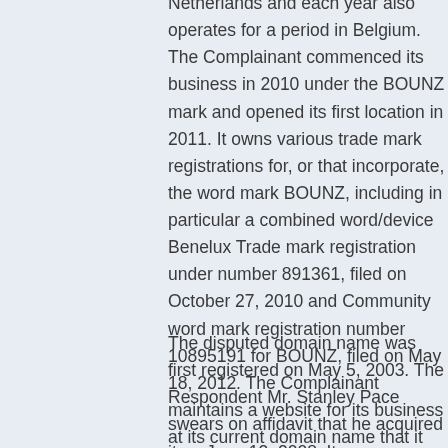Netherlands and each year also operates for a period in Belgium. The Complainant commenced its business in 2010 under the BOUNZ mark and opened its first location in 2011. It owns various trade mark registrations for, or that incorporate, the word mark BOUNZ, including in particular a combined word/device Benelux Trade mark registration under number 891361, filed on October 27, 2010 and Community word mark registration number 10895191 for BOUNZ, filed on May 18, 2012. The Complainant maintains a website for its business at its current domain name that it acquired on September 11, 2008 and owns numerous other domain names worldwide that resolve to its main website.
The disputed domain name was first registered on May 5, 2003. The Respondent Mr. Stanley Pace swears on affidavit that he acquired it on June 12, 2008. It was subsequently moved by the Respondent to the Registrar on April 4, 2009. On or about September 30,